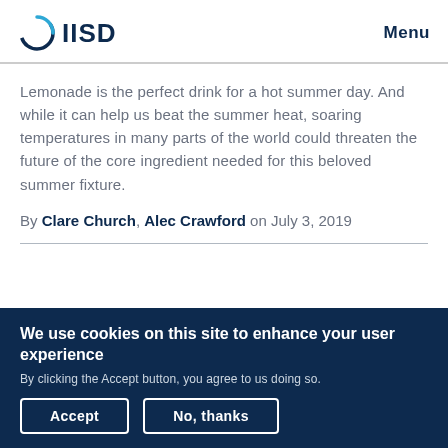IISD | Menu
Lemonade is the perfect drink for a hot summer day. And while it can help us beat the summer heat, soaring temperatures in many parts of the world could threaten the future of the core ingredient needed for this beloved summer fixture.
By Clare Church, Alec Crawford on July 3, 2019
We use cookies on this site to enhance your user experience
By clicking the Accept button, you agree to us doing so.
Accept | No, thanks